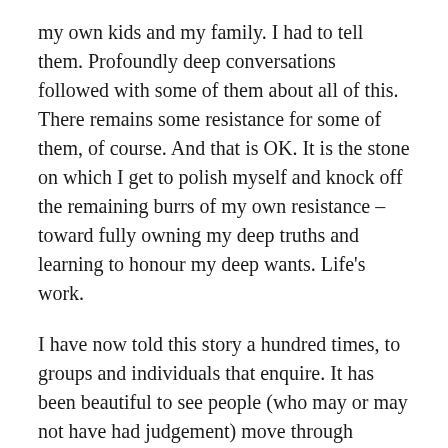my own kids and my family. I had to tell them. Profoundly deep conversations followed with some of them about all of this. There remains some resistance for some of them, of course. And that is OK. It is the stone on which I get to polish myself and knock off the remaining burrs of my own resistance – toward fully owning my deep truths and learning to honour my deep wants. Life's work.
I have now told this story a hundred times, to groups and individuals that enquire. It has been beautiful to see people (who may or may not have had judgement) move through understanding, arrive at compassion for my experience, and often express happiness for me. I've not tired of retelling the story, because it has so many layers and byways for me to explore, but part of the reason for this blog is to have something to offer if time doesn't permit the telling.